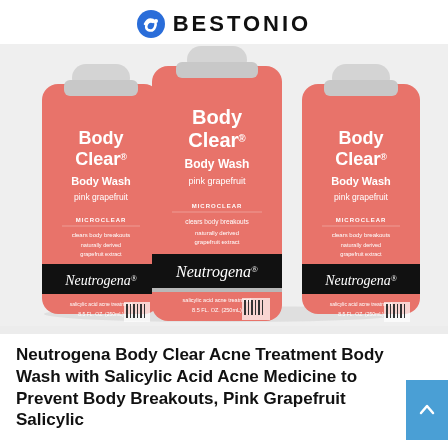BESTONIO
[Figure (photo): Three Neutrogena Body Clear Body Wash pink grapefruit bottles arranged side by side on a light gray background. Each bottle is pink/salmon colored with white text reading Body Clear, Body Wash, pink grapefruit, MICROCLEAR technology, clears body breakouts, naturally derived grapefruit extract, and a black Neutrogena label band. Salicylic acid acne treatment, 8.5 fl. oz (250mL).]
Neutrogena Body Clear Acne Treatment Body Wash with Salicylic Acid Acne Medicine to Prevent Body Breakouts, Pink Grapefruit Salicylic